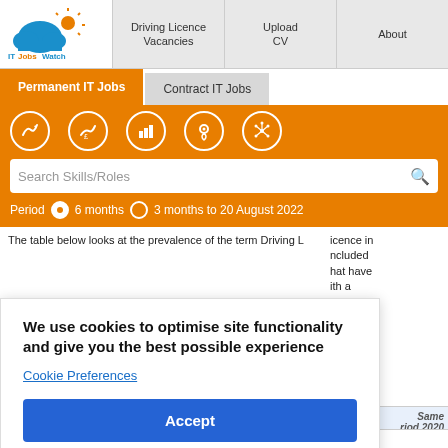ITJobsWatch | Driving Licence Vacancies | Upload CV | About
Permanent IT Jobs | Contract IT Jobs
[Figure (screenshot): Orange navigation bar with icons for search, salary, stats, location, and related skills]
Period  6 months  3 months to 20 August 2022
The table below looks at the prevalence of the term Driving Licence in included that have with a
We use cookies to optimise site functionality and give you the best possible experience
Cookie Preferences
Accept
Same Period 2020
Rank